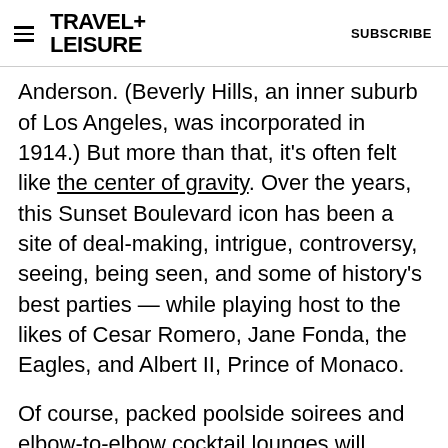TRAVEL+LEISURE  SUBSCRIBE
Anderson. (Beverly Hills, an inner suburb of Los Angeles, was incorporated in 1914.) But more than that, it's often felt like the center of gravity. Over the years, this Sunset Boulevard icon has been a site of deal-making, intrigue, controversy, seeing, being seen, and some of history's best parties — while playing host to the likes of Cesar Romero, Jane Fonda, the Eagles, and Albert II, Prince of Monaco.
Of course, packed poolside soirees and elbow-to-elbow cocktail lounges will remain just a memory for several months, at the very least. But if retail therapy is your thing, you can channel some of the glamor with a new capsule collection that sees the